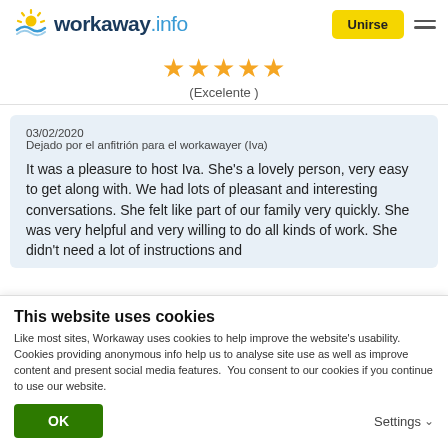workaway.info — Unirse
[Figure (logo): Workaway.info logo with sun icon]
★★★★★ (Excelente )
03/02/2020
Dejado por el anfitrión para el workawayer (Iva)
It was a pleasure to host Iva. She's a lovely person, very easy to get along with. We had lots of pleasant and interesting conversations. She felt like part of our family very quickly. She was very helpful and very willing to do all kinds of work. She didn't need a lot of instructions and
This website uses cookies
Like most sites, Workaway uses cookies to help improve the website's usability. Cookies providing anonymous info help us to analyse site use as well as improve content and present social media features.  You consent to our cookies if you continue to use our website.
OK
Settings